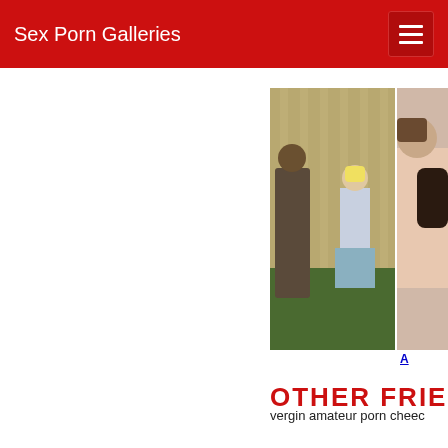Sex Porn Galleries
[Figure (photo): Outdoor scene with two people near a fence, one person bending and another standing in a short skirt]
[Figure (photo): Woman with curly hair, partial view, cropped on right edge]
OTHER FRIEN
[Figure (photo): Person in yellow top lifting it to reveal red lingerie and black stockings, standing in a doorway]
vergin amateur porn cheec